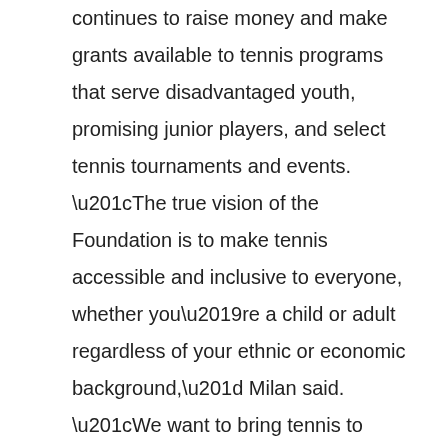continues to raise money and make grants available to tennis programs that serve disadvantaged youth, promising junior players, and select tennis tournaments and events. “The true vision of the Foundation is to make tennis accessible and inclusive to everyone, whether you’re a child or adult regardless of your ethnic or economic background,” Milan said. “We want to bring tennis to them. We know tennis can actually benefit kids growing up and adults, as well as the community organizations.”
Milan said one of the biggest things the Foundation has been able to achieve in 2021 is the distribution of